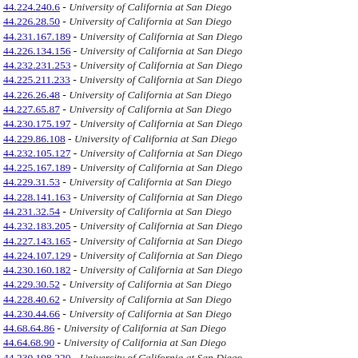44.224.240.6 - University of California at San Diego
44.226.28.50 - University of California at San Diego
44.231.167.189 - University of California at San Diego
44.226.134.156 - University of California at San Diego
44.232.231.253 - University of California at San Diego
44.225.211.233 - University of California at San Diego
44.226.26.48 - University of California at San Diego
44.227.65.87 - University of California at San Diego
44.230.175.197 - University of California at San Diego
44.229.86.108 - University of California at San Diego
44.232.105.127 - University of California at San Diego
44.225.167.189 - University of California at San Diego
44.229.31.53 - University of California at San Diego
44.228.141.163 - University of California at San Diego
44.231.32.54 - University of California at San Diego
44.232.183.205 - University of California at San Diego
44.227.143.165 - University of California at San Diego
44.224.107.129 - University of California at San Diego
44.230.160.182 - University of California at San Diego
44.229.30.52 - University of California at San Diego
44.228.40.62 - University of California at San Diego
44.230.44.66 - University of California at San Diego
44.68.64.86 - University of California at San Diego
44.64.68.90 - University of California at San Diego
44.230.198.220 - University of California at San Diego
44.224.144.166 - University of California at San Diego
44.225.55.77 - University of California at San Diego
44.224.211.233 - University of California at San Diego
44.230.192.214 - University of California at San Diego
44.52.232.254 - University of California at San Diego
44.225.21.133 - University of California at San Diego